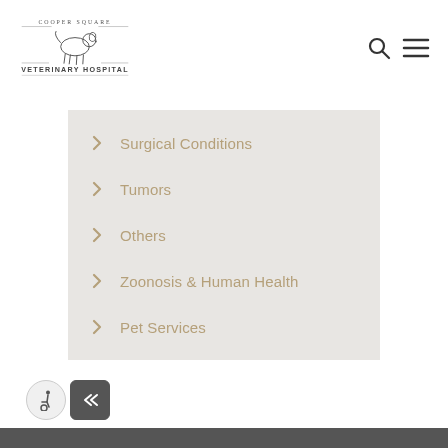[Figure (logo): Cooper Square Veterinary Hospital logo with dog silhouette and decorative text]
Surgical Conditions
Tumors
Others
Zoonosis & Human Health
Pet Services